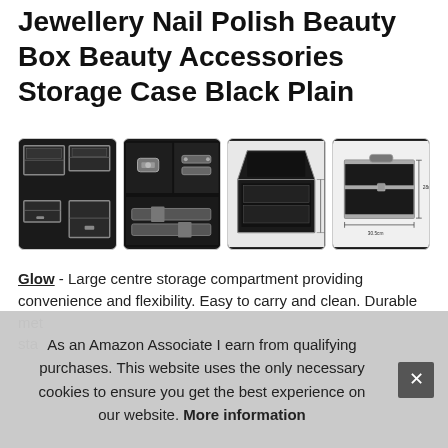Jewellery Nail Polish Beauty Box Beauty Accessories Storage Case Black Plain
[Figure (photo): Four product thumbnail images of a black beauty storage case/box with aluminum trim, showing different angles: closed view with multiple sizes, close-up of latches and hinges, open view showing compartments, and dimensional diagram.]
Glow - Large centre storage compartment providing convenience and flexibility. Easy to carry and clean. Durable met... sta...
As an Amazon Associate I earn from qualifying purchases. This website uses the only necessary cookies to ensure you get the best experience on our website. More information